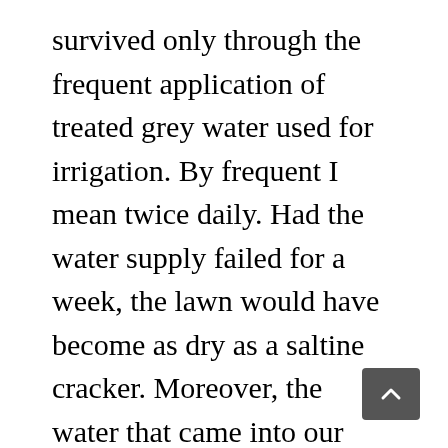survived only through the frequent application of treated grey water used for irrigation. By frequent I mean twice daily. Had the water supply failed for a week, the lawn would have become as dry as a saltine cracker. Moreover, the water that came into our development at the beginning of the use cycle was the product of an enormous desalinization plant down on the Gulf coast in Al Khobar, just 20 minutes away. Water for domestic use throughout central and eastern Saudi Arabia comes primarily